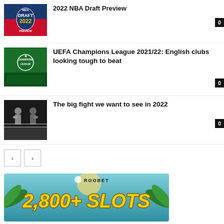[Figure (photo): NBA Draft 2022 logo image]
2022 NBA Draft Preview
[Figure (photo): UEFA Champions League stadium crowd image]
UEFA Champions League 2021/22: English clubs looking tough to beat
[Figure (photo): Boxing match photo with two fighters]
The big fight we want to see in 2022
[Figure (infographic): Roobet advertisement banner showing 2,800+ Slots]